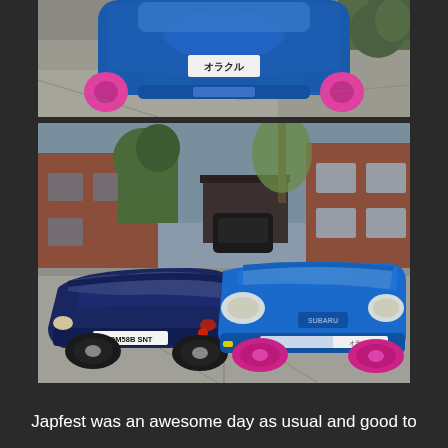[Figure (photo): Aerial/overhead view of a blue modified Japanese car with pink wheels on a concrete driveway, showing the front hood and roof with a Japanese license plate]
[Figure (photo): Two blue modified Japanese cars parked side-by-side on a residential driveway. Left car is a dark navy blue Mitsubishi GTO/3000GT with license plate QM58B SNT. Right car is a bright blue Subaru Impreza WRX with pink wheels. Houses and trees visible in background.]
Japfest was an awesome day as usual and good to